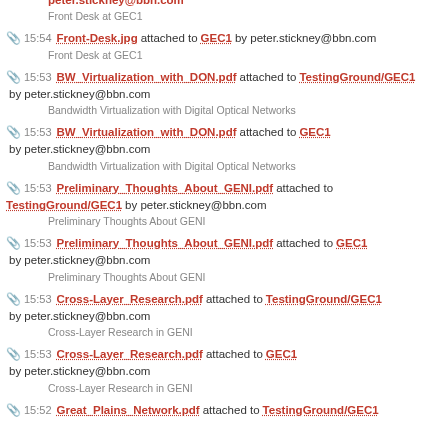peter.stickney@bbn.com Front Desk at GEC1
15:54 Front-Desk.jpg attached to GEC1 by peter.stickney@bbn.com — Front Desk at GEC1
15:53 BW_Virtualization_with_DON.pdf attached to TestingGround/GEC1 by peter.stickney@bbn.com — Bandwidth Virtualization with Digital Optical Networks
15:53 BW_Virtualization_with_DON.pdf attached to GEC1 by peter.stickney@bbn.com — Bandwidth Virtualization with Digital Optical Networks
15:53 Preliminary_Thoughts_About_GENI.pdf attached to TestingGround/GEC1 by peter.stickney@bbn.com — Preliminary Thoughts About GENI
15:53 Preliminary_Thoughts_About_GENI.pdf attached to GEC1 by peter.stickney@bbn.com — Preliminary Thoughts About GENI
15:53 Cross-Layer_Research.pdf attached to TestingGround/GEC1 by peter.stickney@bbn.com — Cross-Layer Research in GENI
15:53 Cross-Layer_Research.pdf attached to GEC1 by peter.stickney@bbn.com — Cross-Layer Research in GENI
15:52 Great_Plains_Network.pdf attached to TestingGround/GEC1